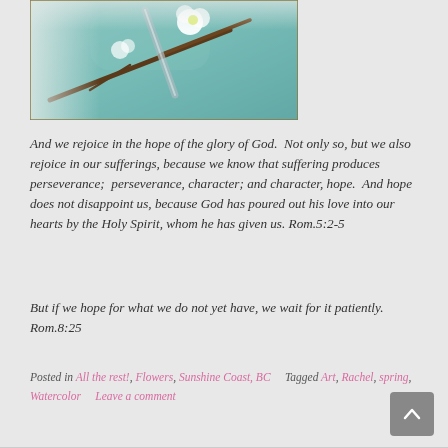[Figure (photo): Close-up photo of white cherry blossom flowers on branches, with a watercolor-style teal painted background visible behind the branches. The image has a soft, blurred bokeh effect.]
And we rejoice in the hope of the glory of God.  Not only so, but we also rejoice in our sufferings, because we know that suffering produces perseverance;  perseverance, character; and character, hope.  And hope does not disappoint us, because God has poured out his love into our hearts by the Holy Spirit, whom he has given us. Rom.5:2-5
But if we hope for what we do not yet have, we wait for it patiently.  Rom.8:25
Posted in All the rest!, Flowers, Sunshine Coast, BC     Tagged Art, Rachel, spring, Watercolor     Leave a comment